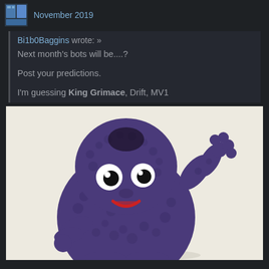November 2019
Bi1b0Baggins wrote: »
Next month's bots will be....?

Post your predictions.

I'm guessing King Grimace, Drift, MV1
[Figure (photo): Photo of King Grimace, a purple fuzzy Muppet-like character from McDonald's, waving with one arm raised, on a white background]